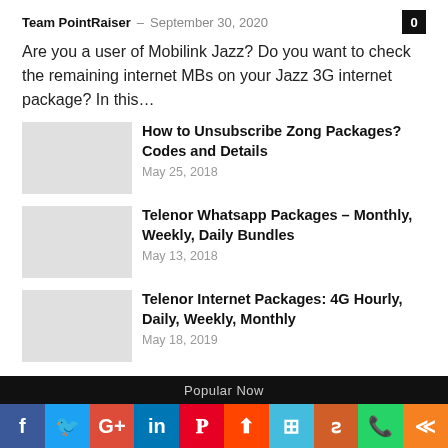Team PointRaiser – September 30, 2020
Are you a user of Mobilink Jazz? Do you want to check the remaining internet MBs on your Jazz 3G internet package? In this…
How to Unsubscribe Zong Packages? Codes and Details
May 25, 2018
Telenor Whatsapp Packages – Monthly, Weekly, Daily Bundles
May 13, 2018
Telenor Internet Packages: 4G Hourly, Daily, Weekly, Monthly
May 18, 2019
Popular Now